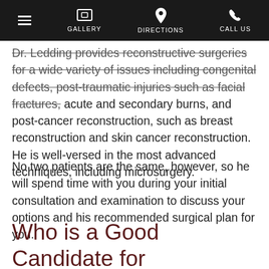GALLERY | DIRECTIONS | CALL US
Dr. Ledding provides reconstructive surgeries for a wide variety of issues including congenital defects, post-traumatic injuries such as facial fractures, acute and secondary burns, and post-cancer reconstruction, such as breast reconstruction and skin cancer reconstruction. He is well-versed in the most advanced techniques, including microsurgery.
No two patients are the same, however, so he will spend time with you during your initial consultation and examination to discuss your options and his recommended surgical plan for you.
Who is a Good Candidate for Reconstructive Surgery?
Only an examination and consultation with Dr. Ledding can determine if you are a good candidate for reconstructive surgery.